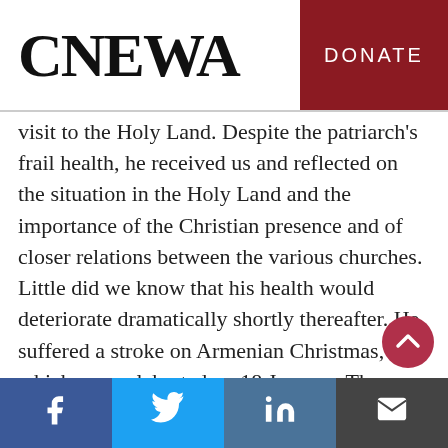CNEWA  DONATE
visit to the Holy Land. Despite the patriarch's frail health, he received us and reflected on the situation in the Holy Land and the importance of the Christian presence and of closer relations between the various churches. Little did we know that his health would deteriorate dramatically shortly thereafter. He suffered a stroke on Armenian Christmas, which was celebrated on 18 January. The stroke left him paralyzed and in a coma until his death.
f  [Twitter]  in  [Email]